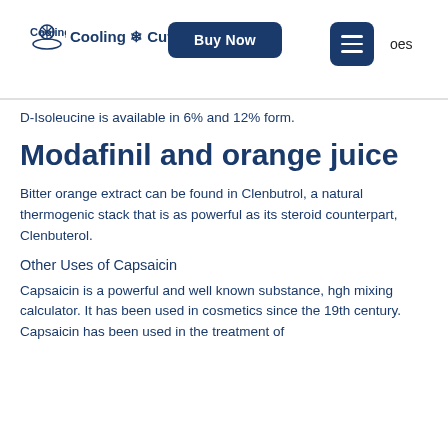Cooling Cuff | Buy Now | [menu]
D-Isoleucine is available in 6% and 12% form.
Modafinil and orange juice
Bitter orange extract can be found in Clenbutrol, a natural thermogenic stack that is as powerful as its steroid counterpart, Clenbuterol.
Other Uses of Capsaicin
Capsaicin is a powerful and well known substance, hgh mixing calculator. It has been used in cosmetics since the 19th century. Capsaicin has been used in the treatment of